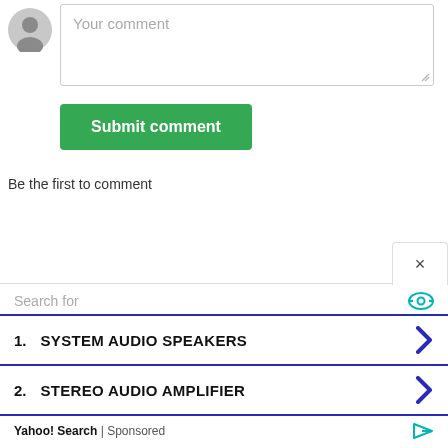[Figure (illustration): Default user avatar icon (gray circle with person silhouette)]
Your comment
Submit comment
Be the first to comment
×
Search for
1.  SYSTEM AUDIO SPEAKERS
2.  STEREO AUDIO AMPLIFIER
Yahoo! Search | Sponsored